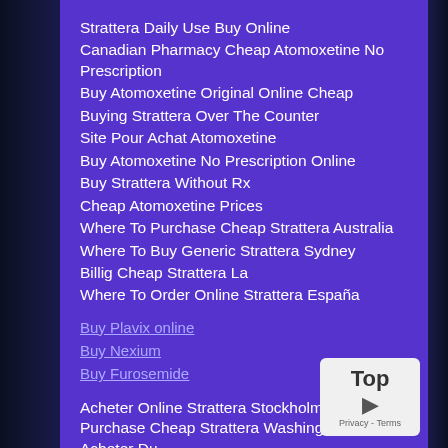Strattera Daily Use Buy Online
Canadian Pharmacy Cheap Atomoxetine No Prescription
Buy Atomoxetine Original Online Cheap
Buying Strattera Over The Counter
Site Pour Achat Atomoxetine
Buy Atomoxetine No Prescription Online
Buy Strattera Without Rx
Cheap Atomoxetine Prices
Where To Purchase Cheap Strattera Australia
Where To Buy Generic Strattera Sydney
Billig Cheap Strattera La
Where To Order Online Strattera España
Buy Plavix online
Buy Nexium
Buy Furosemide
Acheter Online Strattera Stockholm, Where To Purchase Cheap Strattera Washington, Je Veux Acheter Du